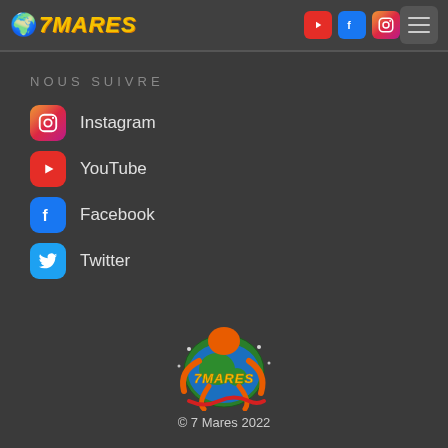🌍 7MARES
NOUS SUIVRE
Instagram
YouTube
Facebook
Twitter
[Figure (logo): 7 Mares colorful logo with octopus and globe]
© 7 Mares 2022